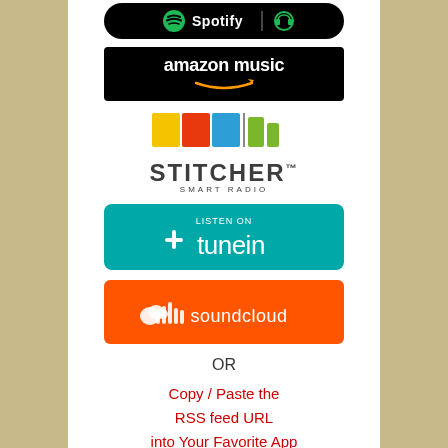[Figure (logo): Spotify logo badge (partially visible at top), black rounded rectangle]
[Figure (logo): Amazon Music logo badge, black rectangle with white text and orange smile arrow]
[Figure (logo): Stitcher Smart Radio logo with colorful bar segments and text]
[Figure (logo): TuneIn listen on badge, teal rounded rectangle with white text]
[Figure (logo): SoundCloud orange badge with waveform icon and soundcloud text]
OR
Copy / Paste the RSS feed URL into Your Favorite App